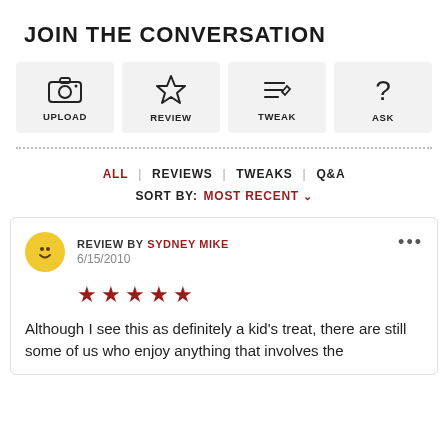JOIN THE CONVERSATION
[Figure (infographic): Four action buttons: UPLOAD (camera icon), REVIEW (star icon), TWEAK (edit/lines icon), ASK (question mark icon)]
ALL | REVIEWS | TWEAKS | Q&A
SORT BY: MOST RECENT ˅
REVIEW BY SYDNEY MIKE
6/15/2010
★★★★★
Although I see this as definitely a kid's treat, there are still some of us who enjoy anything that involves the